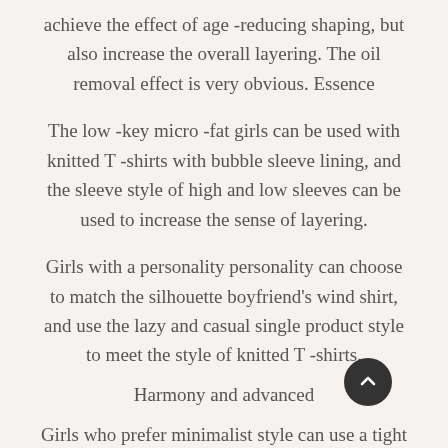achieve the effect of age -reducing shaping, but also increase the overall layering. The oil removal effect is very obvious. Essence
The low -key micro -fat girls can be used with knitted T -shirts with bubble sleeve lining, and the sleeve style of high and low sleeves can be used to increase the sense of layering.
Girls with a personality personality can choose to match the silhouette boyfriend's wind shirt, and use the lazy and casual single product style to meet the style of knitted T -shirts.
Harmony and advanced
Girls who prefer minimalist style can use a tight